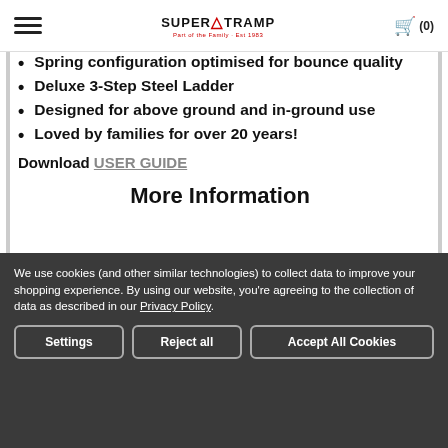SuperTramp - Part of the family · Est 1983 | Cart (0)
Spring configuration optimised for bounce quality
Deluxe 3-Step Steel Ladder
Designed for above ground and in-ground use
Loved by families for over 20 years!
Download USER GUIDE
More Information
We use cookies (and other similar technologies) to collect data to improve your shopping experience. By using our website, you're agreeing to the collection of data as described in our Privacy Policy.